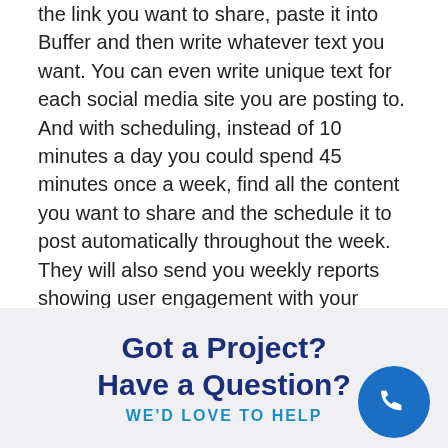the link you want to share, paste it into Buffer and then write whatever text you want.  You can even write unique text for each social media site you are posting to.  And with scheduling, instead of 10 minutes a day you could spend 45 minutes once a week, find all the content you want to share and the schedule it to post automatically throughout the week.  They will also send you weekly reports showing user engagement with your posts.
Got a Project?
Have a Question?
WE'D LOVE TO HELP